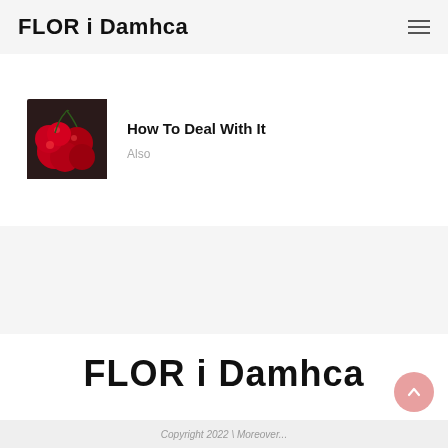FLOR i Damhca
[Figure (photo): Photo of red cherries/berries cluster]
How To Deal With It
Also
FLOR i Damhca
Copyright 2022 \ Moreover...